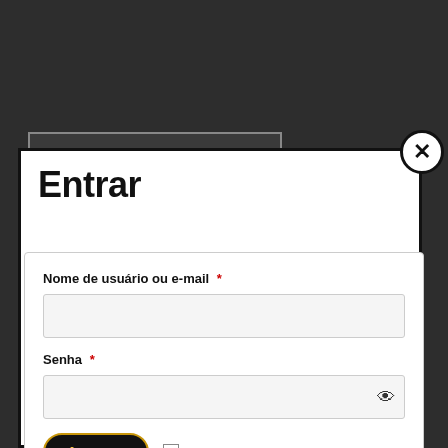[Figure (screenshot): Dark background with a partially visible button labeled 'Saiba Mais']
Entrar
Nome de usuário ou e-mail *
Senha *
Acessar
Lembre-me